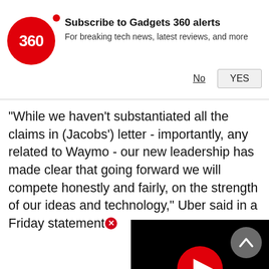[Figure (screenshot): Gadgets 360 subscription notification banner with red circular logo showing '360', bold dot, title 'Subscribe to Gadgets 360 alerts', subtitle 'For breaking tech news, latest reviews, and more', and No/YES buttons]
"While we haven't substantiated all the claims in (Jacobs') letter - importantly, any related to Waymo - our new leadership has made clear that going forward we will compete honestly and fairly, on the strength of our ideas and technology," Uber said in a Friday statement
[Figure (screenshot): Black video player overlay with red circular play button in center]
Advertisement